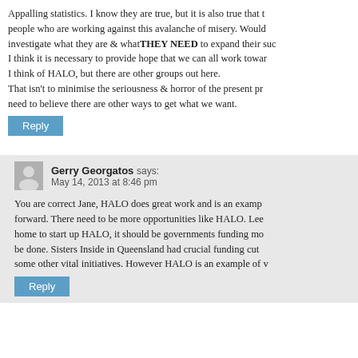Appalling statistics. I know they are true, but it is also true that there are people who are working against this avalanche of misery. Would someone investigate what they are & whatTHEY NEED to expand their success. I think it is necessary to provide hope that we can all work towards. I think of HALO, but there are other groups out here. That isn't to minimise the seriousness & horror of the present problem — need to believe there are other ways to get what we want.
Reply
Gerry Georgatos says:
May 14, 2013 at 8:46 pm
You are correct Jane, HALO does great work and is an example of a way forward. There need to be more opportunities like HALO. Lee took it home to start up HALO, it should be governments funding more of what can be done. Sisters Inside in Queensland had crucial funding cut and some other vital initiatives. However HALO is an example of w
Reply